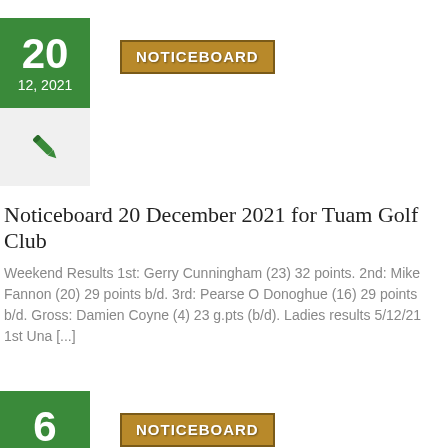20
12, 2021
NOTICEBOARD
[Figure (illustration): Green pen/fountain pen icon on light gray background]
Noticeboard 20 December 2021 for Tuam Golf Club
Weekend Results 1st: Gerry Cunningham (23) 32 points. 2nd: Mike Fannon (20) 29 points b/d. 3rd: Pearse O Donoghue (16) 29 points b/d. Gross: Damien Coyne (4) 23 g.pts (b/d). Ladies results 5/12/21 1st Una [...]
6
12, 2021
NOTICEBOARD